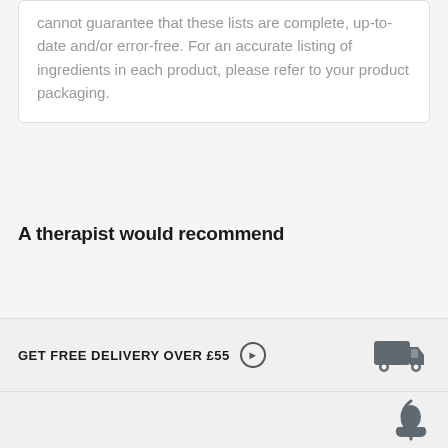cannot guarantee that these lists are complete, up-to-date and/or error-free. For an accurate listing of ingredients in each product, please refer to your product packaging.
A therapist would recommend
GET FREE DELIVERY OVER £55 ➔